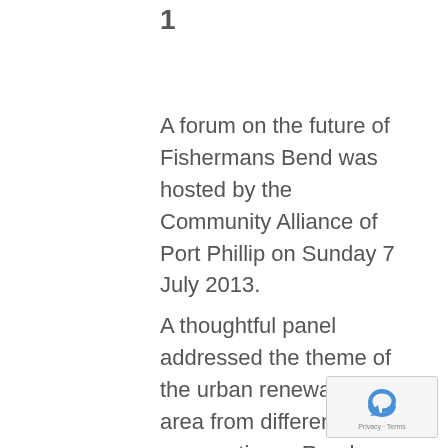1
A forum on the future of Fishermans Bend was hosted by the Community Alliance of Port Phillip on Sunday 7 July 2013.
A thoughtful panel addressed the theme of the urban renewal of this area from different perspectives.  Readers will need to forgive the clumsy acronym FBURA, the Fishermans Bend Urban Renewal Area, which will